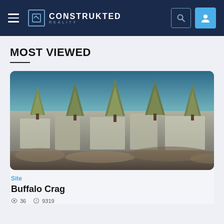CONSTRUKTED REALITY — Navigation bar with hamburger menu, logo, search and user buttons
MOST VIEWED
[Figure (photo): Aerial or close-up photo of Buffalo Crag: rocky limestone formations with sparse trees, dry brush in foreground, blue sky and green forest in background]
Site
Buffalo Crag
36  9319